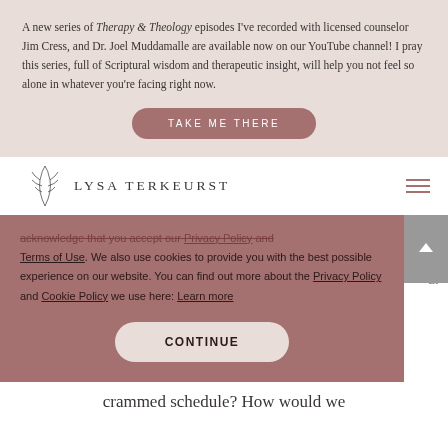A new series of Therapy & Theology episodes I've recorded with licensed counselor Jim Cress, and Dr. Joel Muddamalle are available now on our YouTube channel! I pray this series, full of Scriptural wisdom and therapeutic insight, will help you not feel so alone in whatever you're facing right now.
TAKE ME THERE
[Figure (logo): Lysa TerKeurst logo with decorative leaf/plant element and text 'LYSA TERKEURST']
acknowledge that you accept our Privacy Policy and Terms of Use. We also use cookies to provide you with the best possible experience on our website. You can find out more about the Privacy Policy and Cookie Policy we use here: Learn more
CONTINUE
crammed schedule? How would we